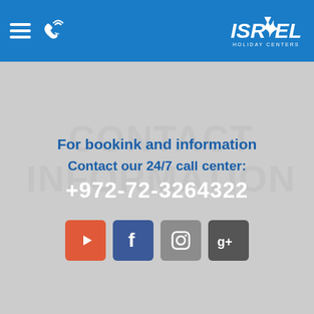[Figure (screenshot): Israel Holiday website header with blue navigation bar containing hamburger menu, phone icon, and Israel Holiday logo with star]
For bookink and information
Contact our 24/7 call center:
+972-72-3264322
[Figure (infographic): Four social media icons: YouTube (red), Facebook (blue), Instagram (gray), Google Plus (dark gray)]